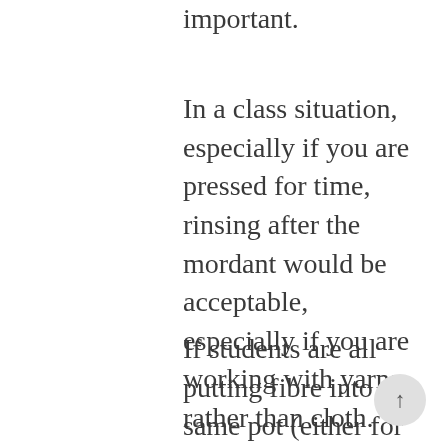important.
In a class situation, especially if you are pressed for time, rinsing after the mordant would be acceptable, especially if you are working with yarns rather than cloth.
If students are all putting fibre into the same pot (either for mordanting or for actual dyeing) then